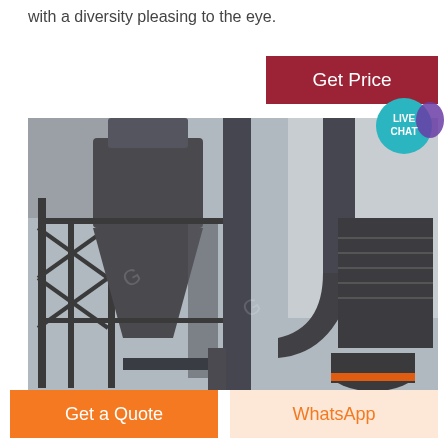with a diversity pleasing to the eye.
[Figure (photo): Industrial dust collection and filtration equipment: large cyclone separator on left mounted on steel framework, vertical pipe/duct in center, curved elbow duct leading to rectangular filter unit on the right, all in a factory setting.]
Get Price
LIVE CHAT
Get a Quote
WhatsApp